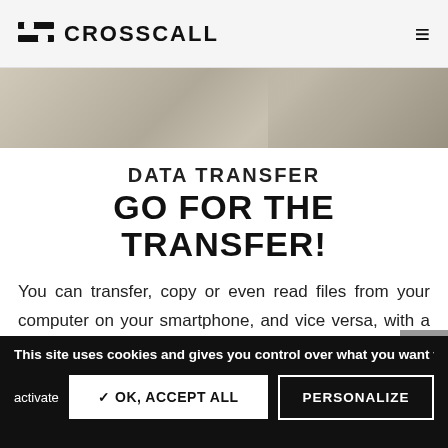CROSSCALL
[Figure (screenshot): Hero image strip showing a blurred grayscale background with hands/device visible]
DATA TRANSFER
GO FOR THE TRANSFER!
You can transfer, copy or even read files from your computer on your smartphone, and vice versa, with a didactic and ergonomic
This site uses cookies and gives you control over what you want to activate
✓ OK, ACCEPT ALL
PERSONALIZE